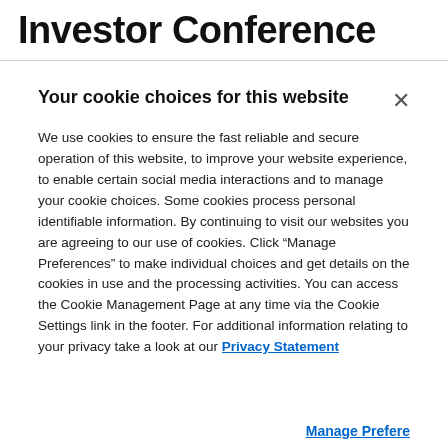Investor Conference
Your cookie choices for this website
We use cookies to ensure the fast reliable and secure operation of this website, to improve your website experience, to enable certain social media interactions and to manage your cookie choices. Some cookies process personal identifiable information. By continuing to visit our websites you are agreeing to our use of cookies. Click “Manage Preferences” to make individual choices and get details on the cookies in use and the processing activities. You can access the Cookie Management Page at any time via the Cookie Settings link in the footer. For additional information relating to your privacy take a look at our Privacy Statement
Manage Preferences